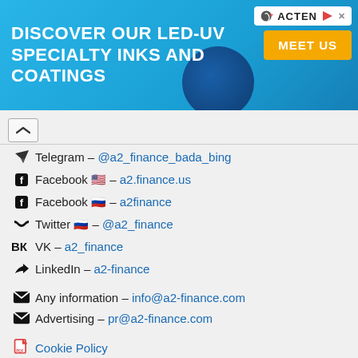[Figure (infographic): Advertisement banner: 'DISCOVER OUR LED-UV SPECIALTY INKS AND COATINGS' with ACTEN logo and 'MEET US' button on cyan/blue background]
Telegram – @a2_finance_bada_bing
Facebook 🇺🇸 – a2.finance.us
Facebook 🇷🇺 – a2finance
Twitter 🇷🇺 – @a2_finance
VK – a2_finance
LinkedIn – a2-finance
Any information – info@a2-finance.com
Advertising – pr@a2-finance.com
Cookie Policy
Disclaimer
EULA
Privacy Policy
Return & Refund Policy
Terms & Conditions